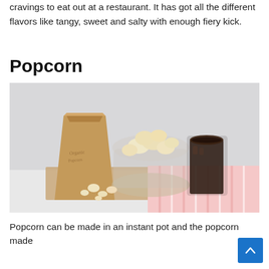cravings to eat out at a restaurant. It has got all the different flavors like tangy, sweet and salty with enough fiery kick.
Popcorn
[Figure (photo): A brown paper bag of popcorn tipped over with popcorn spilling out into a glass bowl, next to a dark glass of cola drink, all placed on a white cutting board with a pink striped cloth in the background.]
Popcorn can be made in an instant pot and the popcorn made